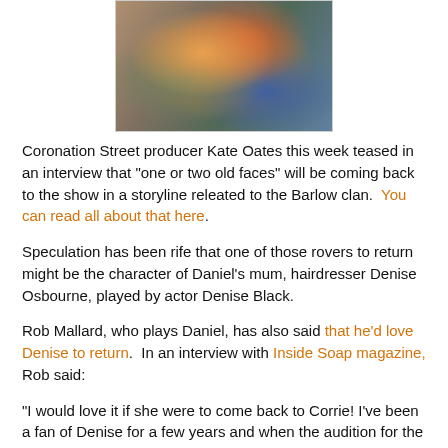[Figure (photo): Cropped photo of two people wearing colorful patterned clothing/jackets, top portion of image visible]
Coronation Street producer Kate Oates this week teased in an interview that "one or two old faces" will be coming back to the show in a storyline releated to the Barlow clan.  You can read all about that here.
Speculation has been rife that one of those rovers to return might be the character of Daniel's mum, hairdresser Denise Osbourne, played by actor Denise Black.
Rob Mallard, who plays Daniel, has also said that he'd love Denise to return.  In an interview with Inside Soap magazine, Rob said:
"I would love it if she were to come back to Corrie! I've been a fan of Denise for a few years and when the audition for the role of Daniel first came up, one of the reasons I was so